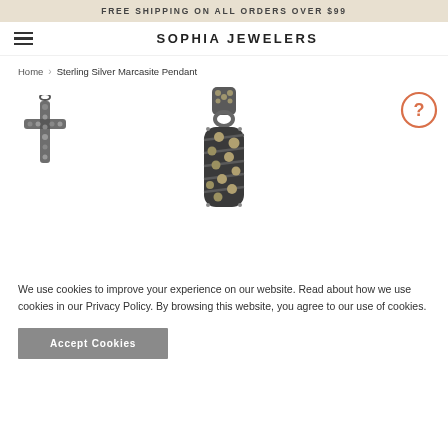FREE SHIPPING ON ALL ORDERS OVER $99
SOPHIA JEWELERS
Home > Sterling Silver Marcasite Pendant
[Figure (photo): Small thumbnail of a marcasite cross pendant in dark silver]
[Figure (photo): Main product image of a Sterling Silver Marcasite Pendant - elongated barrel shape with marcasite stones and bail]
[Figure (other): Question mark help/info button icon]
We use cookies to improve your experience on our website. Read about how we use cookies in our Privacy Policy. By browsing this website, you agree to our use of cookies.
Accept Cookies